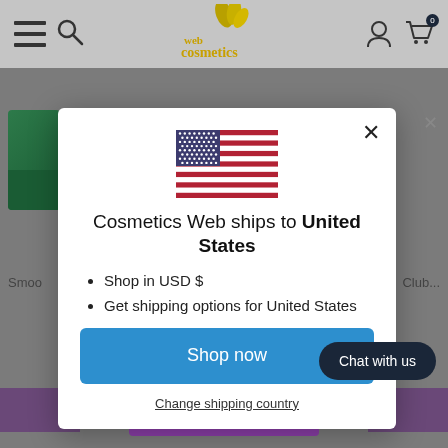[Figure (screenshot): Cosmetics Web e-commerce website header with hamburger menu, search icon, logo, user icon, and cart icon showing 0 items]
[Figure (screenshot): Modal dialog popup on cosmetics website showing US flag, shipping information, shop now button and change shipping country link]
Cosmetics Web ships to United States
Shop in USD $
Get shipping options for United States
Shop now
Change shipping country
Chat with us
ADD TO CART